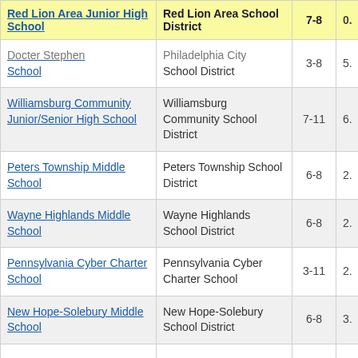| Red Lion Area Junior High School | Red Lion Area School District | 7-8 | 0. |
| --- | --- | --- | --- |
| Docter Stephen School | Philadelphia City School District | 3-8 | 5. |
| Williamsburg Community Junior/Senior High School | Williamsburg Community School District | 7-11 | 6. |
| Peters Township Middle School | Peters Township School District | 6-8 | 2. |
| Wayne Highlands Middle School | Wayne Highlands School District | 6-8 | 2. |
| Pennsylvania Cyber Charter School | Pennsylvania Cyber Charter School | 3-11 | 2. |
| New Hope-Solebury Middle School | New Hope-Solebury School District | 6-8 | 3. |